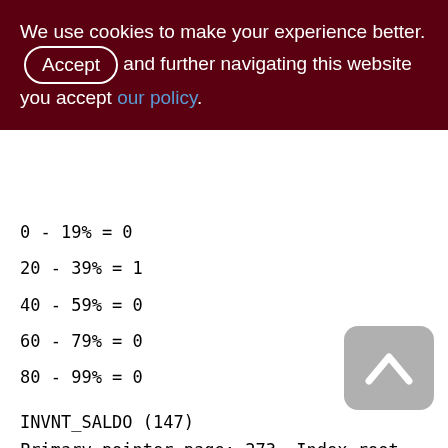We use cookies to make your experience better. By accepting and further navigating this website you accept our policy.
0 - 19% = 0
20 - 39% = 1
40 - 59% = 0
60 - 79% = 0
80 - 99% = 0
INVNT_SALDO (147)
Primary pointer page: 273, Index root page: 274
Total formats: 1, used formats: 1
Average record length: 30.29, total records: 400
Average version length: 0.00, total